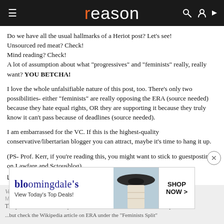reason
Do we have all the usual hallmarks of a Heriot post? Let's see!
Unsourced red meat? Check!
Mind reading? Check!
A lot of assumption about what "progressives" and "feminists" really, really want? YOU BETCHA!

I love the whole unfalsifiable nature of this post, too. There's only two possibilities- either "feminists" are really opposing the ERA (source needed) because they hate equal rights, OR they are supporting it because they truly know it can't pass because of deadlines (source needed).

I am embarrassed for the VC. If this is the highest-quality conservative/libertarian blogger you can attract, maybe it's time to hang it up.

(PS- Prof. Kerr, if you're reading this, you might want to stick to guestposting on Lawfare and Sctousblog).
Log in to Reply
[Figure (screenshot): Bloomingdale's advertisement: View Today's Top Deals! SHOP NOW > with a model in a hat]